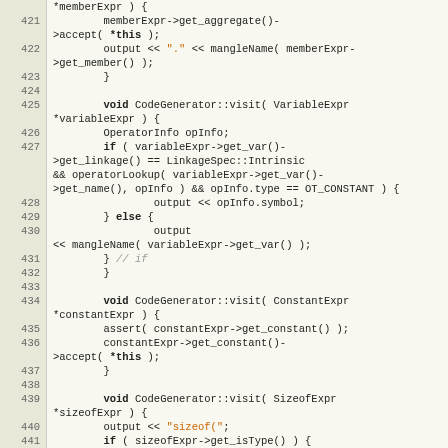[Figure (screenshot): Source code listing showing C++ code for CodeGenerator visit methods, lines 421-442, with line numbers on the left and syntax-highlighted code on the right.]